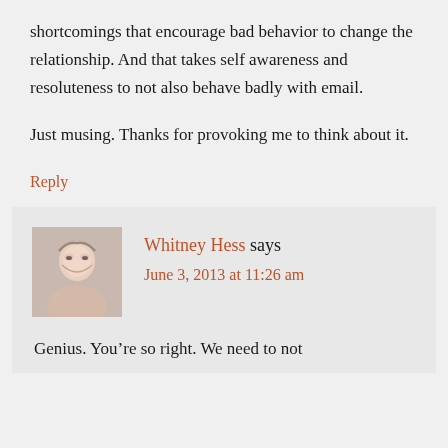shortcomings that encourage bad behavior to change the relationship. And that takes self awareness and resoluteness to not also behave badly with email.
Just musing. Thanks for provoking me to think about it.
Reply
Whitney Hess says
June 3, 2013 at 11:26 am
Genius. You’re so right. We need to not